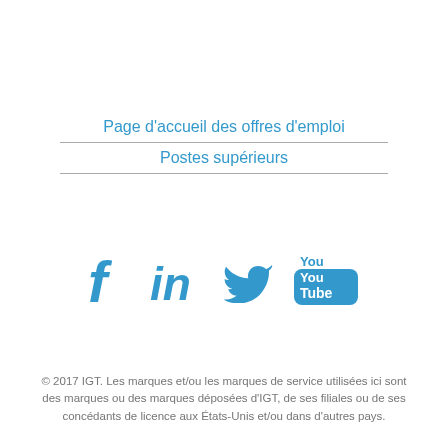Page d'accueil des offres d'emploi
Postes supérieurs
[Figure (infographic): Social media icons: Facebook, LinkedIn, Twitter, YouTube in blue]
© 2017 IGT. Les marques et/ou les marques de service utilisées ici sont des marques ou des marques déposées d'IGT, de ses filiales ou de ses concédants de licence aux États-Unis et/ou dans d'autres pays.